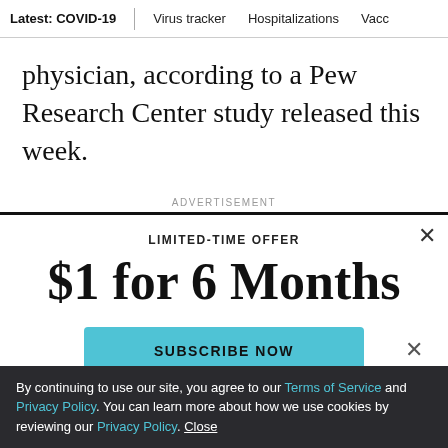Latest: COVID-19 | Virus tracker | Hospitalizations | Vacci
physician, according to a Pew Research Center study released this week.
ADVERTISEMENT
LIMITED-TIME OFFER
$1 for 6 Months
SUBSCRIBE NOW
By continuing to use our site, you agree to our Terms of Service and Privacy Policy. You can learn more about how we use cookies by reviewing our Privacy Policy. Close